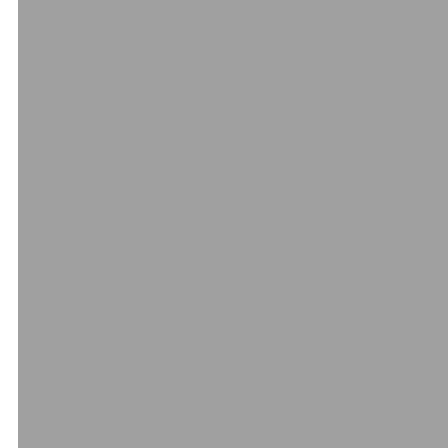[Figure (photo): A large gray rectangular image occupying the left column of the page]
to the sea; Elizabeth Shutes, a governess to passenger Margaret, the greatest confusion. Rough sea aboard. As only one side of the ro such a position that it seemed we worked together, and we drew ne Shutes added that there was som it felt much safer being near it, so
As the situation became more dir boats, jumping in them as they w in them under cover. "Some mem member Joseph Scarrot, in charg foreigners and could not understa keep them away. I had to use so jumped in twice and I had to throw
Fifth Officer H. G. Lowe reported boats dressed like a woman, with being lowered he noted a lot of pa less like wild beasts, ready to spr and did not hit anybody.
Annie May Stengel, a 43-year-old Charles, escaped the ship in a la into her lifeboat as it was being lo New York City physician, who lan